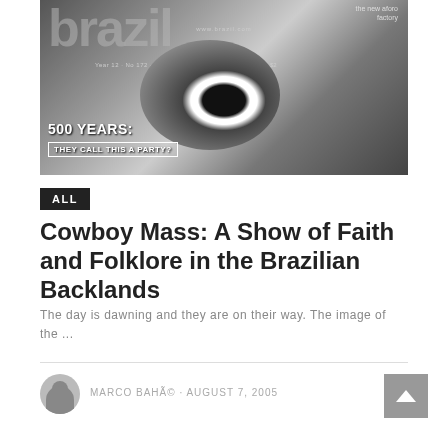[Figure (photo): Black and white magazine cover showing a close-up eye of a person. The magazine is titled 'brazil' with tagline 'the new aforo factory', URL www.brazil.com, issue Year 12 No 172, April 2000, price $2. Headline reads '500 YEARS:' with subheading 'THEY CALL THIS A PARTY?']
ALL
Cowboy Mass: A Show of Faith and Folklore in the Brazilian Backlands
The day is dawning and they are on their way. The image of the ...
MARCO BAHÃ© · AUGUST 7, 2005